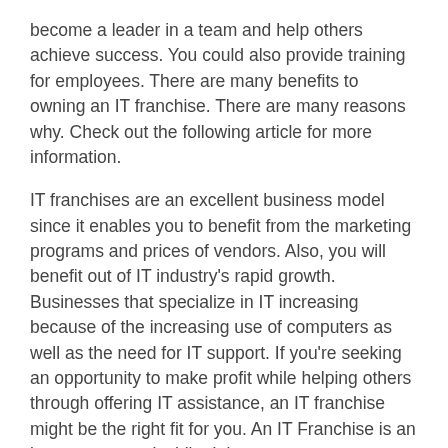become a leader in a team and help others achieve success. You could also provide training for employees. There are many benefits to owning an IT franchise. There are many reasons why. Check out the following article for more information.
IT franchises are an excellent business model since it enables you to benefit from the marketing programs and prices of vendors. Also, you will benefit out of IT industry's rapid growth. Businesses that specialize in IT increasing because of the increasing use of computers as well as the need for IT support. If you're seeking an opportunity to make profit while helping others through offering IT assistance, an IT franchise might be the right fit for you. An IT Franchise is an investment worthwhile. It is a way to earn money while working at home, working at your own speed.
A franchise IT company provides support with marketing and sales. It provides marketing resources such as go-to marketing strategies, go-to-market plans, and general business plans that will assist you in getting your business off the ground. They also provide training on what is the best